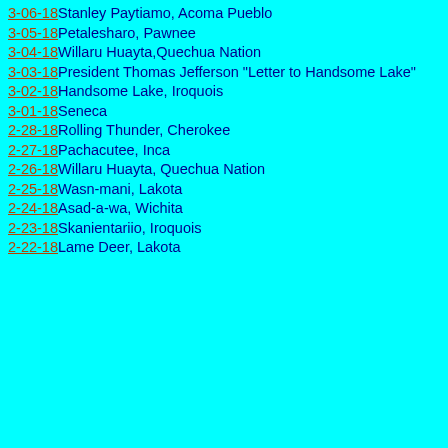3-06-18 Stanley Paytiamo, Acoma Pueblo
3-05-18 Petalesharo, Pawnee
3-04-18 Willaru Huayta, Quechua Nation
3-03-18 President Thomas Jefferson "Letter to Handsome Lake"
3-02-18 Handsome Lake, Iroquois
3-01-18 Seneca
2-28-18 Rolling Thunder, Cherokee
2-27-18 Pachacutee, Inca
2-26-18 Willaru Huayta, Quechua Nation
2-25-18 Wasn-mani, Lakota
2-24-18 Asad-a-wa, Wichita
2-23-18 Skanientariio, Iroquois
2-22-18 Lame Deer, Lakota